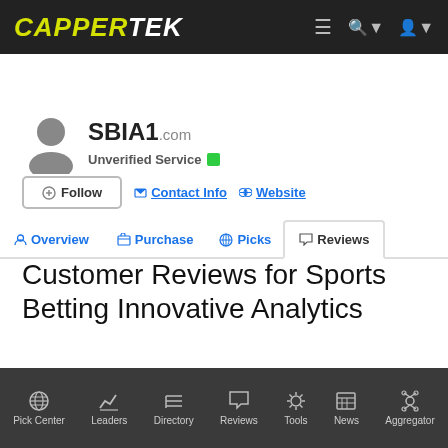CAPPERTEK
SBIA1.com
Unverified Service
Follow | Contact Info | Website
Overview | Purchase | Picks | Reviews
Customer Reviews for Sports Betting Innovative Analytics
Pick Center | Leaders | Directory | Reviews | Tools | News | Aggregator